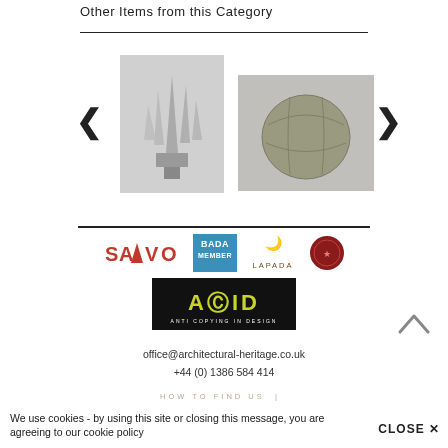Other Items from this Category
[Figure (photo): Metal sculpture with angular pointed forms on a base]
[Figure (photo): A grey-green textured spherical object, possibly stone or ceramic]
[Figure (logo): SALVO logo in red capital letters with triangle]
[Figure (logo): BADA MEMBER logo in blue]
[Figure (logo): LAPADA logo with chandelier icon]
[Figure (logo): Red seal/badge logo]
[Figure (logo): ACID Anti Copying in Design logo, black background with yellow text]
office@architectural-heritage.co.uk
+44 (0) 1386 584 414
HOW TO FIND US
We use cookies - by using this site or closing this message, you are agreeing to our cookie policy